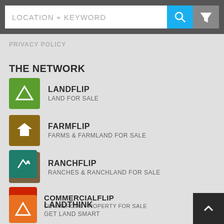[Figure (screenshot): Search bar with LOCATION + KEYWORD placeholder, blue search button, and gray filter button]
PRIVACY POLICY
THE NETWORK
LANDFLIP - LAND FOR SALE
FARMFLIP - FARMS & FARMLAND FOR SALE
RANCHFLIP - RANCHES & RANCHLAND FOR SALE
AUCTIONFLIP - LAND AUCTIONS
COMMERCIALFLIP - COMMERCIAL PROPERTY FOR SALE
LANDTHINK - GET LAND SMART